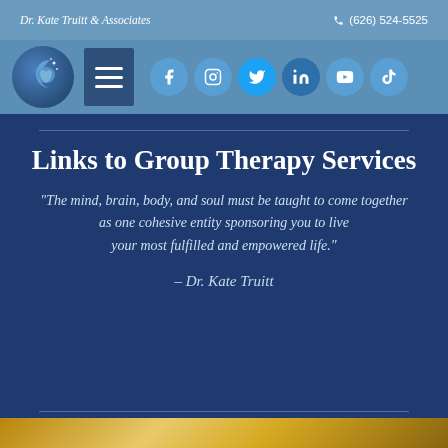Dr. Kate Truitt & Associates    (626) 524-5525
[Figure (screenshot): Navigation bar with logo (brain/moon icon), hamburger menu, and social media icons: Facebook, Instagram, Twitter, LinkedIn, YouTube, TikTok]
Links to Group Therapy Services
“The mind, brain, body, and soul must be taught to come together as one cohesive entity sponsoring you to live your most fulfilled and empowered life.”
– Dr. Kate Truitt
[Figure (illustration): Gold/amber gradient decorative strip at bottom of page]